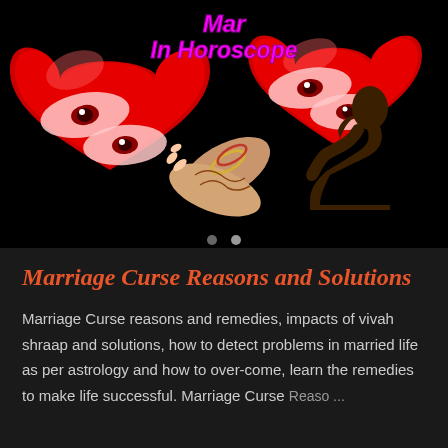[Figure (illustration): Dark background image with two large red hearts with human eyes overlaid on them, decorated hands (henna/mehndi) in the center, a silhouette of a person sitting in distress on the right, and pink italic text reading 'Marriage In Horoscope' at the top]
Marriage Curse Reasons and Solutions
Marriage Curse reasons and remedies, impacts of vivah shraap and solutions, how to detect problems in married life as per astrology and how to over-come, learn the remedies to make life successful. Marriage Curse Reaso ...